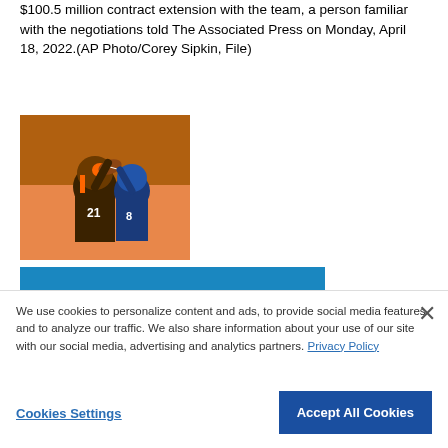$100.5 million contract extension with the team, a person familiar with the negotiations told The Associated Press on Monday, April 18, 2022.(AP Photo/Corey Sipkin, File)
[Figure (photo): Football player in Cleveland Browns uniform (number 21) catching or contesting a ball against a Detroit Lions defender (number 8)]
View All (2)
CLEVELAND (AP) — Denzel Ward got locked down
We use cookies to personalize content and ads, to provide social media features and to analyze our traffic. We also share information about your use of our site with our social media, advertising and analytics partners. Privacy Policy
Cookies Settings
Accept All Cookies